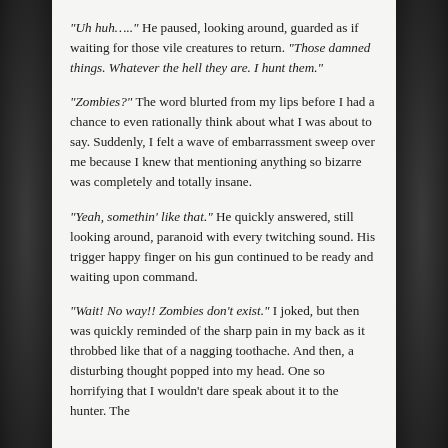“Uh huh…..” He paused, looking around, guarded as if waiting for those vile creatures to return. “Those damned things. Whatever the hell they are. I hunt them.”
“Zombies?” The word blurted from my lips before I had a chance to even rationally think about what I was about to say. Suddenly, I felt a wave of embarrassment sweep over me because I knew that mentioning anything so bizarre was completely and totally insane.
“Yeah, somethin’ like that.” He quickly answered, still looking around, paranoid with every twitching sound. His trigger happy finger on his gun continued to be ready and waiting upon command.
“Wait! No way!! Zombies don’t exist.” I joked, but then was quickly reminded of the sharp pain in my back as it throbbed like that of a nagging toothache. And then, a disturbing thought popped into my head. One so horrifying that I wouldn’t dare speak about it to the hunter. The